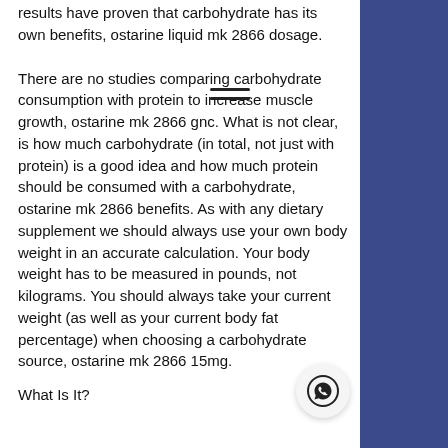results have proven that carbohydrate has its own benefits, ostarine liquid mk 2866 dosage.
There are no studies comparing carbohydrate consumption with protein to increase muscle growth, ostarine mk 2866 gnc. What is not clear, is how much carbohydrate (in total, not just with protein) is a good idea and how much protein should be consumed with a carbohydrate, ostarine mk 2866 benefits. As with any dietary supplement we should always use your own body weight in an accurate calculation. Your body weight has to be measured in pounds, not kilograms. You should always take your current weight (as well as your current body fat percentage) when choosing a carbohydrate source, ostarine mk 2866 15mg.
What Is It?